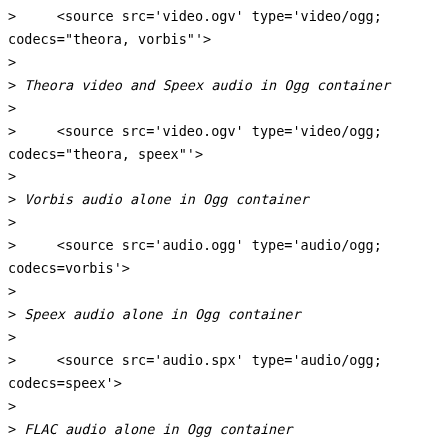>     <source src='video.ogv' type='video/ogg; codecs="theora, vorbis"'>
>
> Theora video and Speex audio in Ogg container
>
>     <source src='video.ogv' type='video/ogg; codecs="theora, speex"'>
>
> Vorbis audio alone in Ogg container
>
>     <source src='audio.ogg' type='audio/ogg; codecs=vorbis'>
>
> Speex audio alone in Ogg container
>
>     <source src='audio.spx' type='audio/ogg; codecs=speex'>
>
> FLAC audio alone in Ogg container
>
>     <source src='audio.oga' type='audio/ogg; codecs=flac'>
>
> Dirac video and Vorbis audio in Ogg container
>
>     <source src='video.ogv' type='video/ogg; codecs="dirac, vorbis"'>
>
> Theora video and Vorbis audio in Matroska container
>